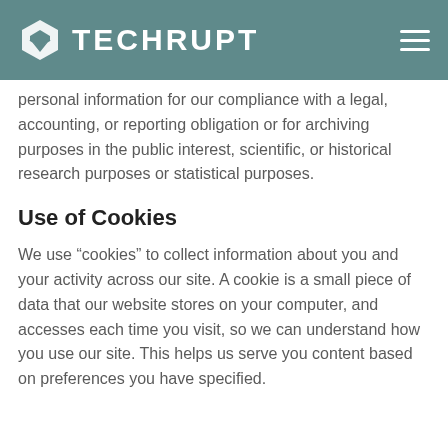TECHRUPT
personal information for our compliance with a legal, accounting, or reporting obligation or for archiving purposes in the public interest, scientific, or historical research purposes or statistical purposes.
Use of Cookies
We use "cookies" to collect information about you and your activity across our site. A cookie is a small piece of data that our website stores on your computer, and accesses each time you visit, so we can understand how you use our site. This helps us serve you content based on preferences you have specified.